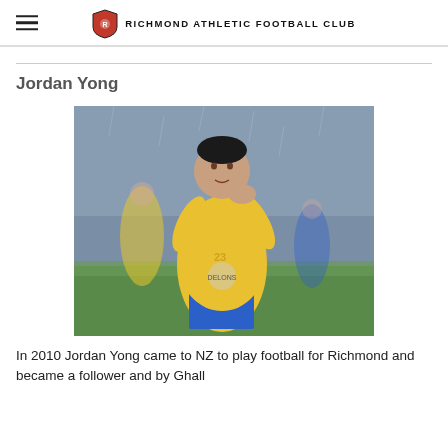RICHMOND ATHLETIC FOOTBALL CLUB
Jordan Yong
[Figure (photo): Jordan Yong in a yellow football kit clapping on the pitch, other players in yellow kits visible in the background]
In 2010 Jordan Yong came to NZ to play football for Richmond and became a follower and by Ghall...